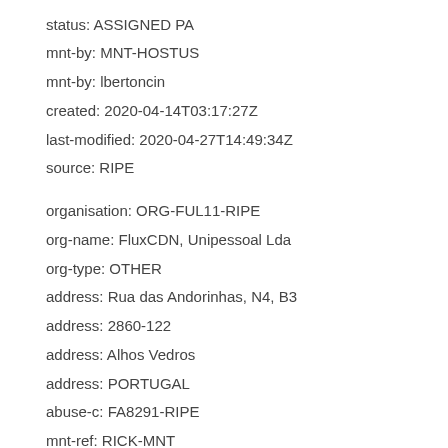status: ASSIGNED PA
mnt-by: MNT-HOSTUS
mnt-by: lbertoncin
created: 2020-04-14T03:17:27Z
last-modified: 2020-04-27T14:49:34Z
source: RIPE
organisation: ORG-FUL11-RIPE
org-name: FluxCDN, Unipessoal Lda
org-type: OTHER
address: Rua das Andorinhas, N4, B3
address: 2860-122
address: Alhos Vedros
address: PORTUGAL
abuse-c: FA8291-RIPE
mnt-ref: RICK-MNT